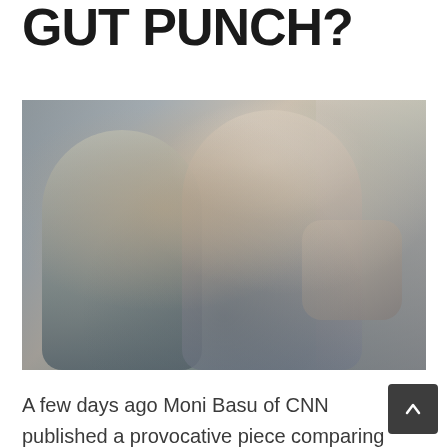GUT PUNCH?
[Figure (photo): Backstage fashion photo showing two women in grey/blue dresses from behind and side, in a crowded backstage area]
A few days ago Moni Basu of CNN published a provocative piece comparing the photography of War to the photography of Fashion. Whether this is an absurd evocation, an intellectual exercise, or an astute reflection I'm not calling it. I